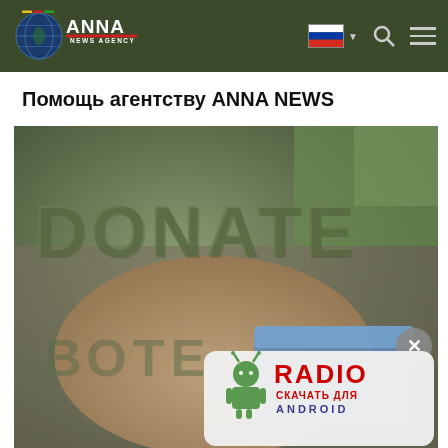ANNA NEWS AGENCY
Помощь агентству ANNA NEWS
[Figure (photo): Donate image showing hands holding a credit card with the word DONATE and Russian text, with a Radio Android download banner overlay in the lower right corner]